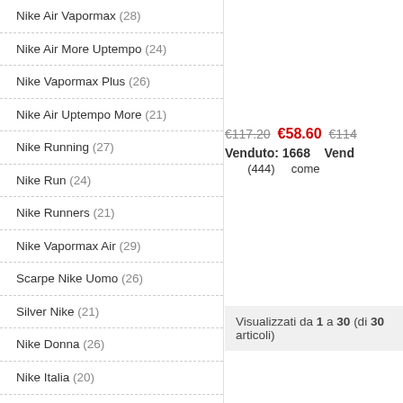Nike Air Vapormax (28)
Nike Air More Uptempo (24)
Nike Vapormax Plus (26)
Nike Air Uptempo More (21)
Nike Running (27)
Nike Run (24)
Nike Runners (21)
Nike Vapormax Air (29)
Scarpe Nike Uomo (26)
Silver Nike (21)
Nike Donna (26)
Nike Italia (20)
Nike Air Force 1 Low (24)
Nike Air Jordan 1 (30)
Nike Air Force Low 1 (26)
€117.20  €58.60  €114...  Venduto: 1668  Vend...  (444)  come
Visualizzati da 1 a 30 (di 30 articoli)